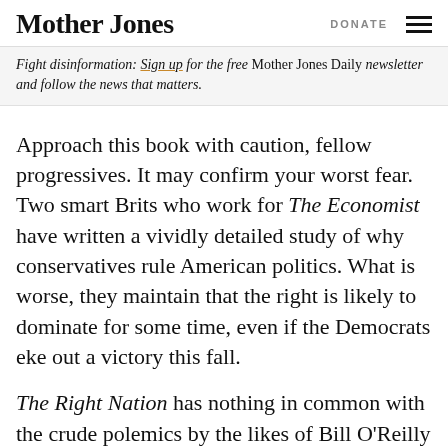Mother Jones | DONATE ☰
Fight disinformation: Sign up for the free Mother Jones Daily newsletter and follow the news that matters.
Approach this book with caution, fellow progressives. It may confirm your worst fear. Two smart Brits who work for The Economist have written a vividly detailed study of why conservatives rule American politics. What is worse, they maintain that the right is likely to dominate for some time, even if the Democrats eke out a victory this fall.
The Right Nation has nothing in common with the crude polemics by the likes of Bill O'Reilly and Ann Coulter that growl from so-hot-every-circuit and